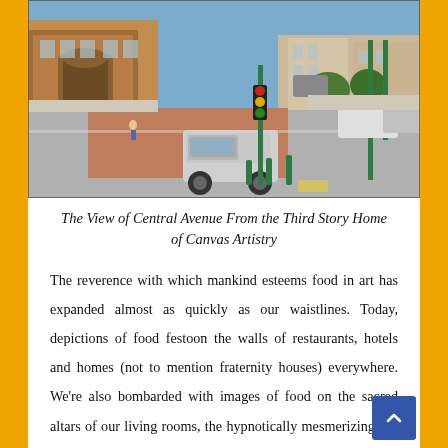[Figure (photo): Aerial view of Central Avenue intersection from the third story of Canvas Artistry building. Shows a wide street with brick-paved crosswalks, a pickup truck in the foreground, traffic lights, parked cars, and downtown buildings including a large brick structure on the left.]
The View of Central Avenue From the Third Story Home of Canvas Artistry
The reverence with which mankind esteems food in art has expanded almost as quickly as our waistlines. Today, depictions of food festoon the walls of restaurants, hotels and homes (not to mention fraternity houses) everywhere. We're also bombarded with images of food on the sacred altars of our living rooms, the hypnotically mesmerizing 70-inch flat screen televisions which render the Big Mac big once more. It's apparent we find food